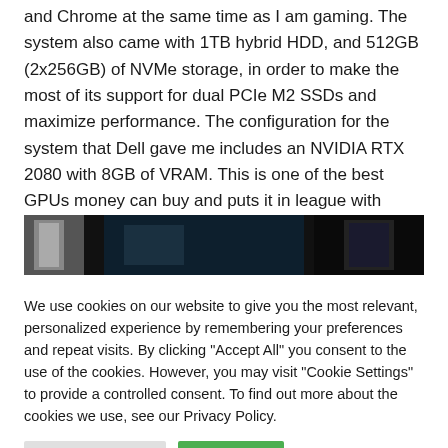and Chrome at the same time as I am gaming. The system also came with 1TB hybrid HDD, and 512GB (2x256GB) of NVMe storage, in order to make the most of its support for dual PCIe M2 SSDs and maximize performance. The configuration for the system that Dell gave me includes an NVIDIA RTX 2080 with 8GB of VRAM. This is one of the best GPUs money can buy and puts it in league with desktops.
[Figure (photo): Partial photo strip, dark/blurred image, mostly black and dark teal tones]
We use cookies on our website to give you the most relevant, personalized experience by remembering your preferences and repeat visits. By clicking "Accept All" you consent to the use of the cookies. However, you may visit "Cookie Settings" to provide a controlled consent. To find out more about the cookies we use, see our Privacy Policy.